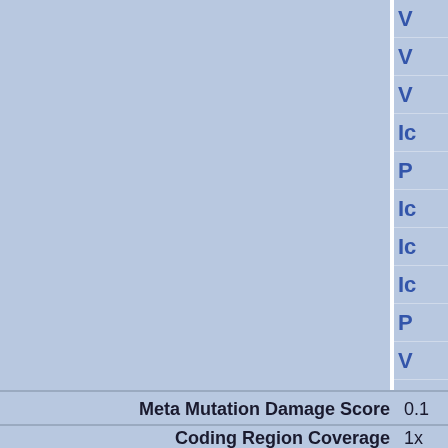|  | Value |
| --- | --- |
|  | V |
|  | V |
|  | V |
|  | Ic |
|  | P |
|  | Ic |
|  | Ic |
|  | Ic |
|  | P |
|  | V |
|  | V |
| Meta Mutation Damage Score | 0.1 |
| Coding Region Coverage | 1x |